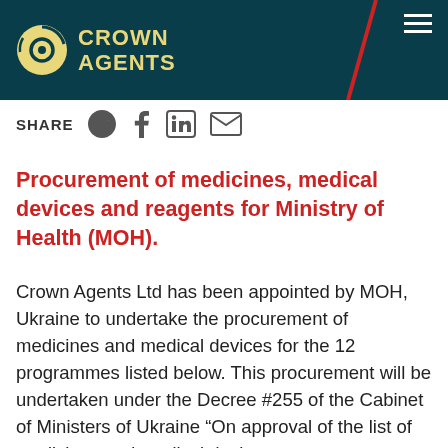[Figure (logo): Crown Agents logo with circular emblem and yellow text on dark teal background header, with red diagonal line and hamburger menu icon]
SHARE
Procurement of medicines, medical devices and reagents for Ministry of Health (MOH).
Crown Agents Ltd has been appointed by MOH, Ukraine to undertake the procurement of medicines and medical devices for the 12 programmes listed below. This procurement will be undertaken under the Decree #255 of the Cabinet of Ministers of Ukraine “On approval of the list of medicines and medical devices to